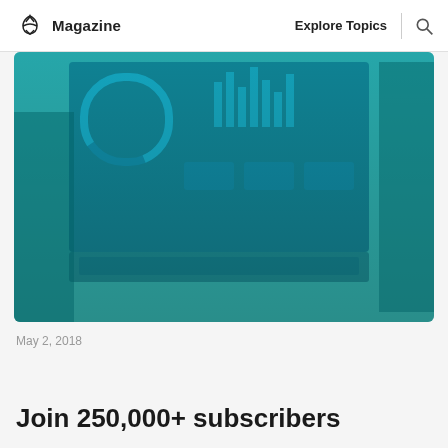Magazine   Explore Topics
[Figure (photo): Dashboard analytics screenshot overlaid with teal/blue gradient color wash, showing charts and a keyboard]
May 2, 2018
Join 250,000+ subscribers